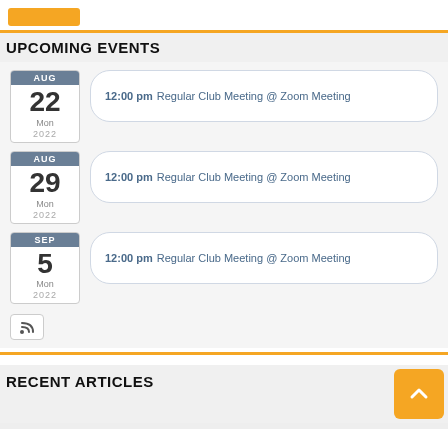[Figure (other): Orange button/badge at top left]
UPCOMING EVENTS
AUG 22 Mon 2022 — 12:00 pm Regular Club Meeting @ Zoom Meeting
AUG 29 Mon 2022 — 12:00 pm Regular Club Meeting @ Zoom Meeting
SEP 5 Mon 2022 — 12:00 pm Regular Club Meeting @ Zoom Meeting
RECENT ARTICLES